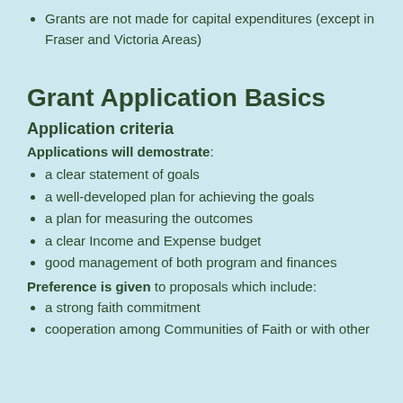Grants are not made for capital expenditures (except in Fraser and Victoria Areas)
Grant Application Basics
Application criteria
Applications will demostrate:
a clear statement of goals
a well-developed plan for achieving the goals
a plan for measuring the outcomes
a clear Income and Expense budget
good management of both program and finances
Preference is given to proposals which include:
a strong faith commitment
cooperation among Communities of Faith or with other